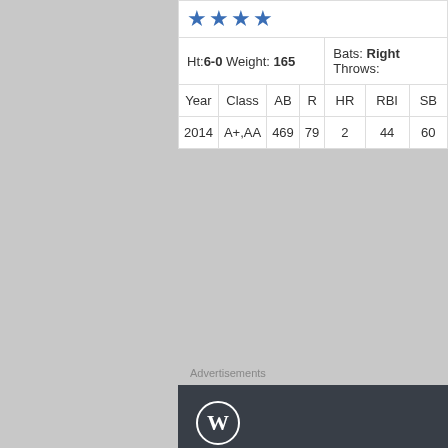|  | 2015 Age: 21 |
| --- | --- |
| Ht: 6-0 Weight: 165 | Bats: Right Throws: |
| Year | Class | AB | R | HR | RBI | SB |  |
| 2014 | A+,AA | 469 | 79 | 2 | 44 | 60 |  |
Advertisements
[Figure (other): WordPress.com advertisement — dark background with WordPress logo, text 'Discover new reads on the go.' and 'GET THE APP' call to action.]